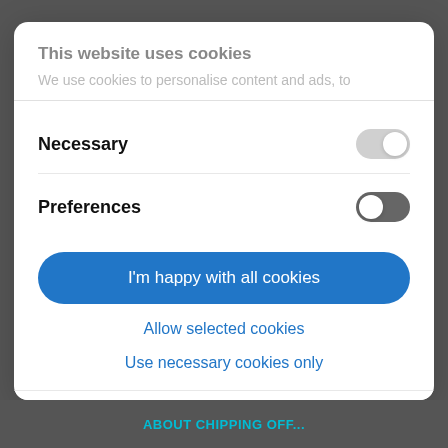This website uses cookies
We use cookies to personalise content and ads, to
Necessary
Preferences
I'm happy with all cookies
Allow selected cookies
Use necessary cookies only
Powered by Cookiebot by Usercentrics